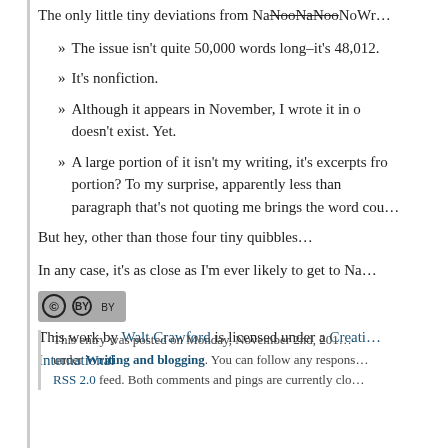The only little tiny deviations from NaNooNaNooNoWr...
» The issue isn't quite 50,000 words long–it's 48,012.
» It's nonfiction.
» Although it appears in November, I wrote it in … doesn't exist. Yet.
» A large portion of it isn't my writing, it's excerpts from … portion? To my surprise, apparently less than … paragraph that's not quoting me brings the word cou…
But hey, other than those four tiny quibbles…
In any case, it's as close as I'm ever likely to get to Na…
[Figure (logo): Creative Commons BY license badge]
This work by Walt Crawford is licensed under a Creative … International
This entry was posted on Monday, November 2nd, 201… under Writing and blogging. You can follow any respons… RSS 2.0 feed. Both comments and pings are currently clo…